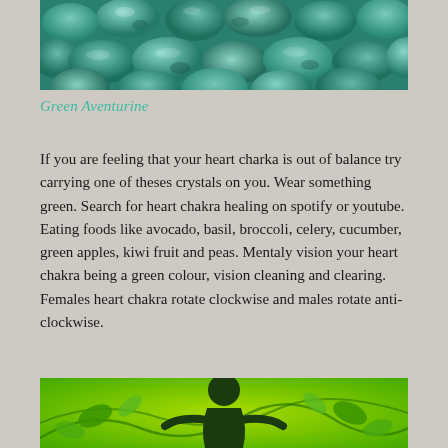[Figure (photo): Photo of green aventurine tumbled stones, teal/green colored smooth rounded rocks]
Green Aventurine
If you are feeling that your heart charka is out of balance try carrying one of theses crystals on you. Wear something green. Search for heart chakra healing on spotify or youtube. Eating foods like avocado, basil, broccoli, celery, cucumber, green apples, kiwi fruit and peas. Mentaly vision your heart chakra being a green colour, vision cleaning and clearing. Females heart chakra rotate clockwise and males rotate anti-clockwise.
[Figure (illustration): Illustration of a green meditating silhouette figure with leaves and vines, representing heart chakra healing]